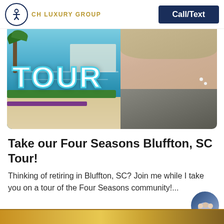CH LUXURY GROUP | Call/Text
[Figure (photo): Hero image composite: luxury community pool with palm trees and landscaping on the left side, text 'TOUR' overlaid in large white letters with teal outline, woman with gray-blonde hair in a gray textured turtleneck on the right side]
Take our Four Seasons Bluffton, SC Tour!
Thinking of retiring in Bluffton, SC? Join me while I take you on a tour of the Four Seasons community!...
[Figure (photo): Chat bubble with team photo avatar icon, labeled 'chat_bu...']
[Figure (photo): Partial bottom strip showing beginning of another article with colorful banner]